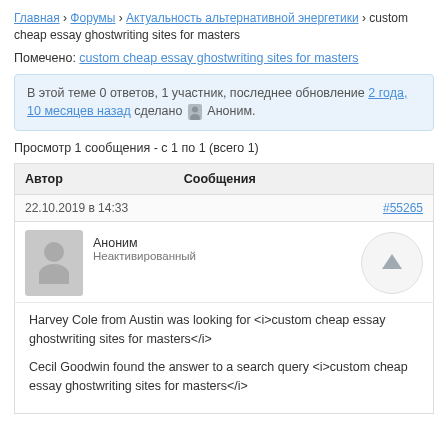Главная › Форумы › Актуальность альтернативной энергетики › custom cheap essay ghostwriting sites for masters
Помечено: custom cheap essay ghostwriting sites for masters
В этой теме 0 ответов, 1 участник, последнее обновление 2 года, 10 месяцев назад сделано Аноним.
Просмотр 1 сообщения - с 1 по 1 (всего 1)
| Автор | Сообщения |
| --- | --- |
| 22.10.2019 в 14:33 | #55265 |
| Аноним
Неактивированный |  |
| Harvey Cole from Austin was looking for <i>custom cheap essay ghostwriting sites for masters</i>

Cecil Goodwin found the answer to a search query <i>custom cheap essay ghostwriting sites for masters</i> |  |
Harvey Cole from Austin was looking for <i>custom cheap essay ghostwriting sites for masters</i>

Cecil Goodwin found the answer to a search query <i>custom cheap essay ghostwriting sites for masters</i>